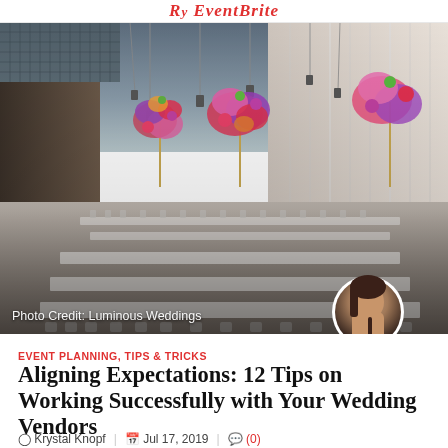Ry EventBrite
[Figure (photo): Wedding venue interior with long banquet tables set with white chairs, tall floral centerpieces with colorful flowers (pink, purple, red), modern ceiling with pendant lights, and draped white curtains on right wall. Photo Credit: Luminous Weddings.]
Photo Credit: Luminous Weddings
EVENT PLANNING, TIPS & TRICKS
Aligning Expectations: 12 Tips on Working Successfully with Your Wedding Vendors
Krystal Knopf   Jul 17, 2019   (0)